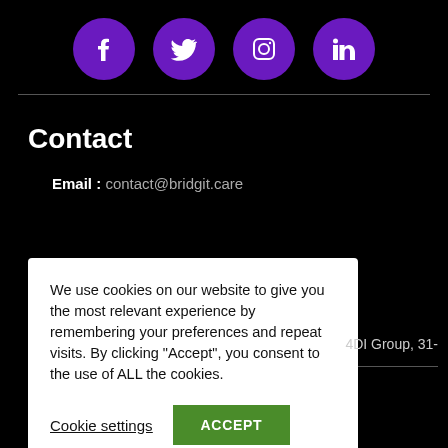[Figure (other): Four social media icon circles (Facebook, Twitter, Instagram, LinkedIn) in purple on black background]
Email : contact@bridgit.care
Contact
We use cookies on our website to give you the most relevant experience by remembering your preferences and repeat visits. By clicking “Accept”, you consent to the use of ALL the cookies.
Cookie settings   ACCEPT
4DI Group, 31-